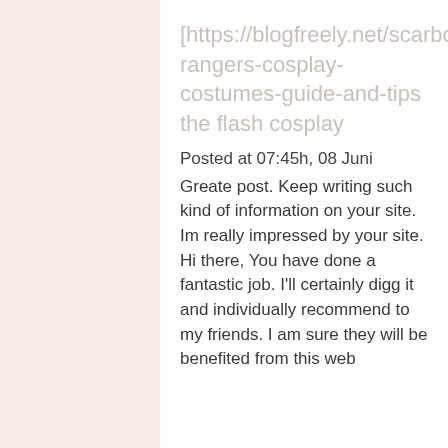[https://blogfreely.net/scarboro rangers-cosplay-costumes-guide-and-tips the flash cosplay
Posted at 07:45h, 08 Juni
Greate post. Keep writing such kind of information on your site. Im really impressed by your site. Hi there, You have done a fantastic job. I'll certainly digg it and individually recommend to my friends. I am sure they will be benefited from this web